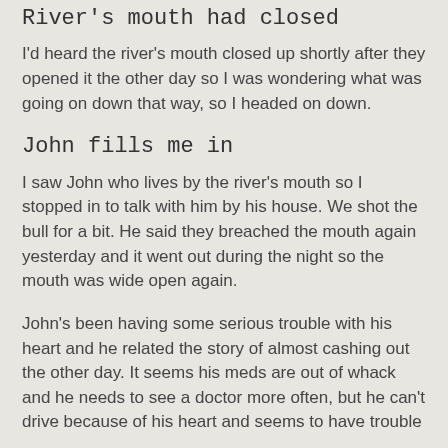River's mouth had closed
I'd heard the river's mouth closed up shortly after they opened it the other day so I was wondering what was going on down that way, so I headed on down.
John fills me in
I saw John who lives by the river's mouth so I stopped in to talk with him by his house. We shot the bull for a bit. He said they breached the mouth again yesterday and it went out during the night so the mouth was wide open again.
John's been having some serious trouble with his heart and he related the story of almost cashing out the other day. It seems his meds are out of whack and he needs to see a doctor more often, but he can't drive because of his heart and seems to have trouble